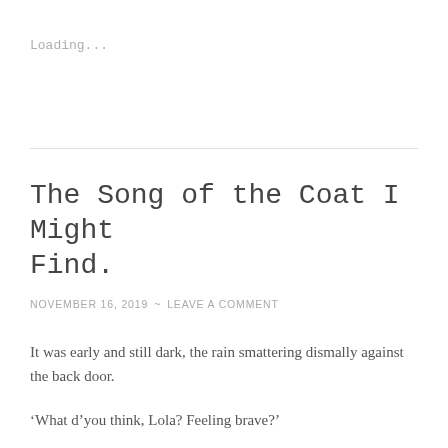Loading...
The Song of the Coat I Might Find.
NOVEMBER 16, 2019  ~  LEAVE A COMMENT
It was early and still dark, the rain smattering dismally against the back door.
‘What d’you think, Lola? Feeling brave?’